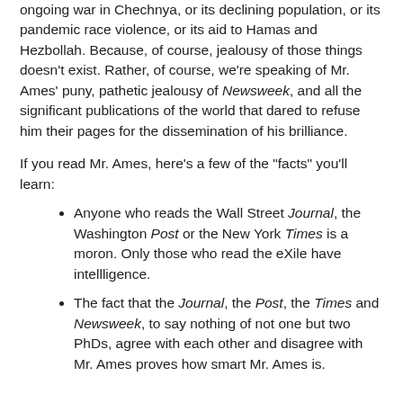ongoing war in Chechnya, or its declining population, or its pandemic race violence, or its aid to Hamas and Hezbollah. Because, of course, jealousy of those things doesn't exist. Rather, of course, we're speaking of Mr. Ames' puny, pathetic jealousy of Newsweek, and all the significant publications of the world that dared to refuse him their pages for the dissemination of his brilliance.
If you read Mr. Ames, here's a few of the "facts" you'll learn:
Anyone who reads the Wall Street Journal, the Washington Post or the New York Times is a moron. Only those who read the eXile have intellligence.
The fact that the Journal, the Post, the Times and Newsweek, to say nothing of not one but two PhDs, agree with each other and disagree with Mr. Ames proves how smart Mr. Ames is.